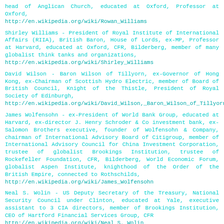head of Anglican Church, educated at Oxford, Professor at Oxford,
http://en.wikipedia.org/wiki/Rowan_Williams
Shirley Williams - President of Royal Institute of International Affairs (RIIA), British Baron, House of Lords, ex-MP, Professor at Harvard, educated at Oxford, CFR, Bilderberg, member of many globalist think tanks and organizations,
http://en.wikipedia.org/wiki/Shirley_Williams
David Wilson - Baron Wilson of Tillyorn, ex-Governor of Hong Kong, ex-Chairman of Scottish Hydro Electric, member of Board of British Council, Knight of the Thistle, President of Royal Society of Edinburgh,
http://en.wikipedia.org/wiki/David_Wilson,_Baron_Wilson_of_Tillyorn
James Wolfensohn - ex-President of World Bank Group, educated at Harvard, ex-director J. Henry Schroder & Co investment bank, ex-Salomon Brothers executive, founder of Wolfensohn & Company, chairman of International Advisory Board of Citigroup, member of International Advisory Council for China Investment Corporation, trustee of globalist Brookings Institution, trustee of Rockefeller Foundation, CFR, Bilderberg, World Economic Forum, globalist Aspen Institute, knighthood of the Order of the British Empire, connected to Rothschilds,
http://en.wikipedia.org/wiki/James_Wolfensohn
Neal S. Wolin - US Deputy Secretary of the Treasury, National Security Council under Clinton, educated at Yale, executive assistant to 3 CIA directors, member of Brookings Institution, CEO of Hartford Financial Services Group, CFR
http://en.wikipedia.org/wiki/Neal_S._Wolin